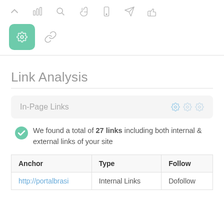[Figure (screenshot): Toolbar with navigation icons: up arrow, bar chart, search, pointer/hand, mobile phone, paper plane, thumbs up]
[Figure (screenshot): Second toolbar row with a green active icon (gear/settings) and a chain link icon]
Link Analysis
In-Page Links
We found a total of 27 links including both internal & external links of your site
| Anchor | Type | Follow |
| --- | --- | --- |
| http://portalbrasi | Internal Links | Dofollow |